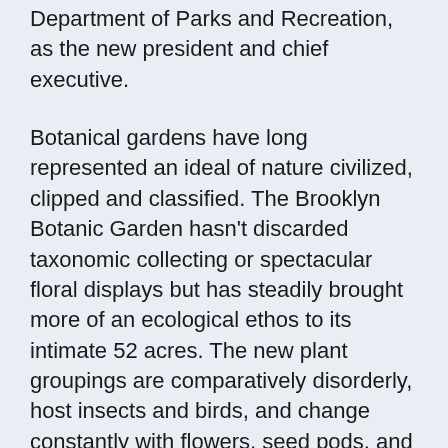Department of Parks and Recreation, as the new president and chief executive.
Botanical gardens have long represented an ideal of nature civilized, clipped and classified. The Brooklyn Botanic Garden hasn't discarded taxonomic collecting or spectacular floral displays but has steadily brought more of an ecological ethos to its intimate 52 acres. The new plant groupings are comparatively disorderly, host insects and birds, and change constantly with flowers, seed pods, and leaf colors constantly popping and fading.
A long neglected 1.25-acre slope has become the Robert W. Wilson Overlook. It now hosts a sinuous path lined by white